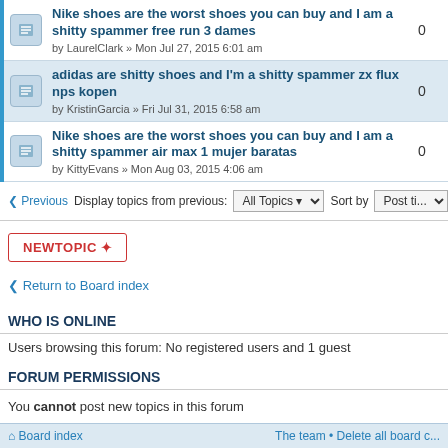Nike shoes are the worst shoes you can buy and I am a shitty spammer free run 3 dames by LaurelClark » Mon Jul 27, 2015 6:01 am — 0 replies
adidas are shitty shoes and I'm a shitty spammer zx flux nps kopen by KristinGarcia » Fri Jul 31, 2015 6:58 am — 0 replies
Nike shoes are the worst shoes you can buy and I am a shitty spammer air max 1 mujer baratas by KittyEvans » Mon Aug 03, 2015 4:06 am — 0 replies
Previous | Display topics from previous: All Topics ▾ Sort by Post ti...
NEWTOPIC ✦
Return to Board index
WHO IS ONLINE
Users browsing this forum: No registered users and 1 guest
FORUM PERMISSIONS
You cannot post new topics in this forum
You cannot reply to topics in this forum
You cannot edit your posts in this forum
You cannot delete your posts in this forum
Board index | The team • Delete all board c...